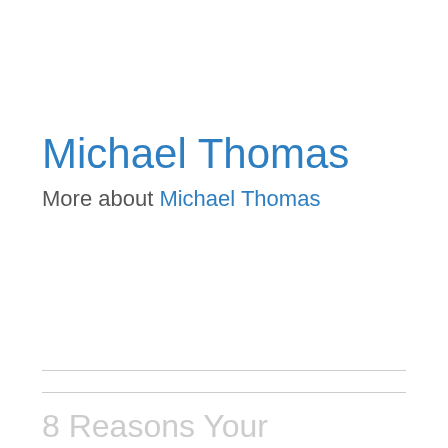Michael Thomas
More about Michael Thomas
8 Reasons Your Motorcycle